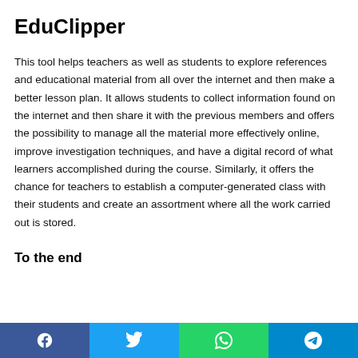EduClipper
This tool helps teachers as well as students to explore references and educational material from all over the internet and then make a better lesson plan. It allows students to collect information found on the internet and then share it with the previous members and offers the possibility to manage all the material more effectively online, improve investigation techniques, and have a digital record of what learners accomplished during the course. Similarly, it offers the chance for teachers to establish a computer-generated class with their students and create an assortment where all the work carried out is stored.
To the end